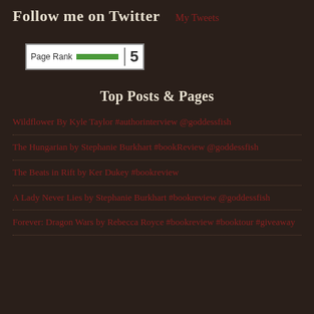Follow me on Twitter
My Tweets
[Figure (other): PageRank badge showing rank 5 with green bar indicator]
Top Posts & Pages
Wildflower By Kyle Taylor #authorinterview @goddessfish
The Hungarian by Stephanie Burkhart #bookReview @goddessfish
The Beats in Rift by Ker Dukey #bookreview
A Lady Never Lies by Stephanie Burkhart #bookreview @goddessfish
Forever: Dragon Wars by Rebecca Royce #bookreview #booktour #giveaway